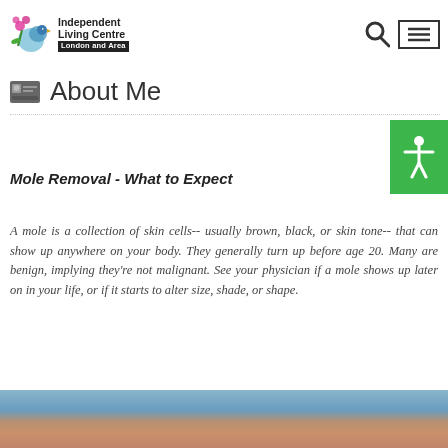Independent Living Centre London and Area
About Me
Mole Removal - What to Expect
A mole is a collection of skin cells-- usually brown, black, or skin tone-- that can show up anywhere on your body. They generally turn up before age 20. Many are benign, implying they're not malignant. See your physician if a mole shows up later on in your life, or if it starts to alter size, shade, or shape.
[Figure (photo): Close-up photo of skin, likely showing a mole or skin area, with blue/teal background at top transitioning to skin tone]